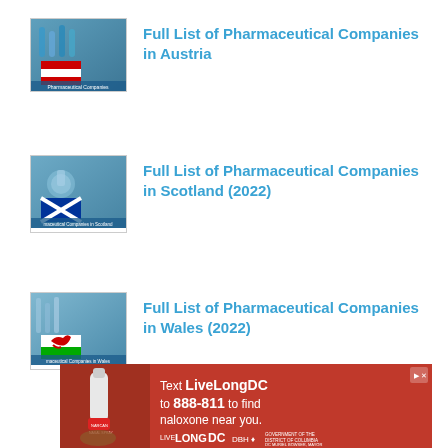[Figure (photo): Thumbnail image of pharmaceutical lab equipment with Austrian flag overlay]
Full List of Pharmaceutical Companies in Austria
[Figure (photo): Thumbnail image of pharmaceutical lab equipment with Scottish flag overlay]
Full List of Pharmaceutical Companies in Scotland (2022)
[Figure (photo): Thumbnail image of pharmaceutical lab equipment with Welsh flag overlay]
Full List of Pharmaceutical Companies in Wales (2022)
[Figure (photo): Advertisement banner: Text LiveLongDC to 888-811 to find naloxone near you. Live Long DC / DBH / Government of the District of Columbia, DC Mayor.]